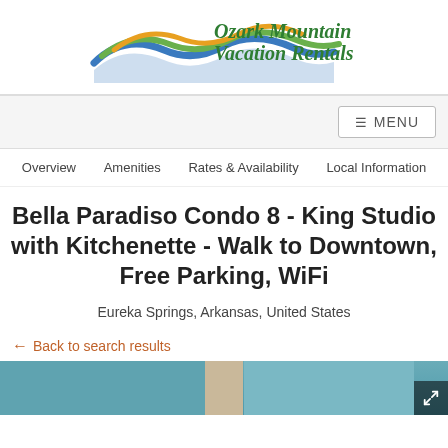[Figure (logo): Ozark Mountain Vacation Rentals logo with wave graphic in blue, green, and orange, and italic/bold green text]
MENU
Overview  Amenities  Rates & Availability  Local Information
Bella Paradiso Condo 8 - King Studio with Kitchenette - Walk to Downtown, Free Parking, WiFi
Eureka Springs, Arkansas, United States
← Back to search results
[Figure (photo): Partial interior photo of a room with teal/blue wall and curtains, partially visible]